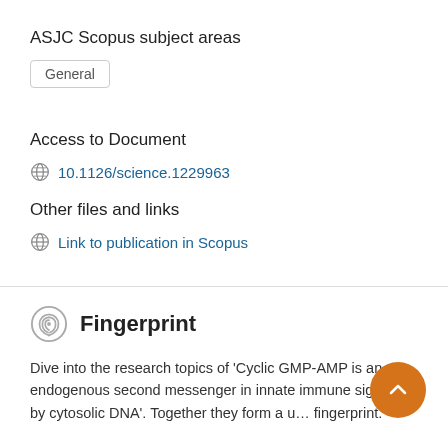ASJC Scopus subject areas
General
Access to Document
10.1126/science.1229963
Other files and links
Link to publication in Scopus
Fingerprint
Dive into the research topics of 'Cyclic GMP-AMP is an endogenous second messenger in innate immune signaling by cytosolic DNA'. Together they form a unique fingerprint.